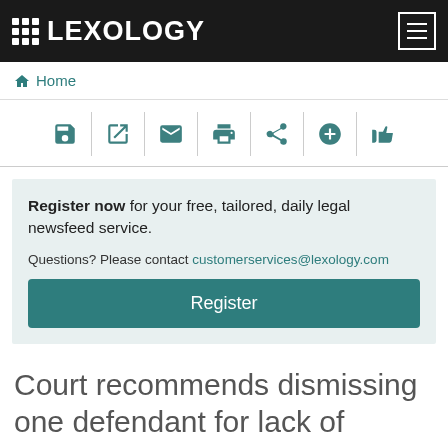LEXOLOGY
Home
[Figure (other): Toolbar with 7 action icons: save, open/edit, email, print, share, add, thumbs up]
Register now for your free, tailored, daily legal newsfeed service. Questions? Please contact customerservices@lexology.com
Register
Court recommends dismissing one defendant for lack of personal jurisdiction